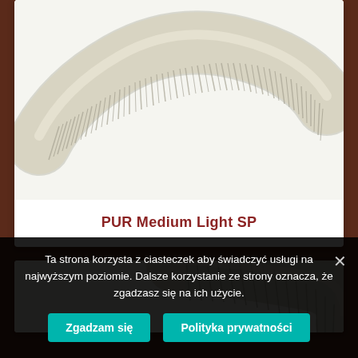[Figure (photo): Photograph of a flexible corrugated PUR hose coiled in an S-shape, beige/cream colored with visible spiral ribbing, on a white background.]
PUR Medium Light SP
[Figure (photo): Partial photograph of another flexible corrugated hose (similar beige/cream PUR hose), partially visible at the top edge of the second product card.]
Ta strona korzysta z ciasteczek aby świadczyć usługi na najwyższym poziomie. Dalsze korzystanie ze strony oznacza, że zgadzasz się na ich użycie.